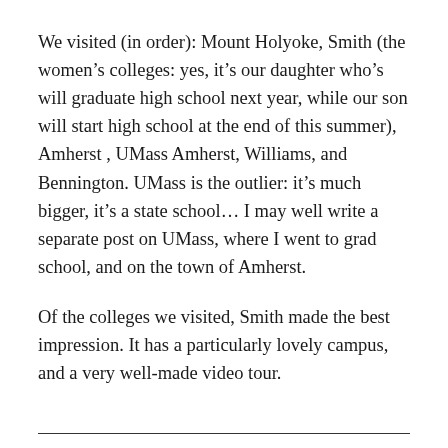We visited (in order): Mount Holyoke, Smith (the women’s colleges: yes, it’s our daughter who’s will graduate high school next year, while our son will start high school at the end of this summer), Amherst , UMass Amherst, Williams, and Bennington. UMass is the outlier: it’s much bigger, it’s a state school… I may well write a separate post on UMass, where I went to grad school, and on the town of Amherst.
Of the colleges we visited, Smith made the best impression. It has a particularly lovely campus, and a very well-made video tour.